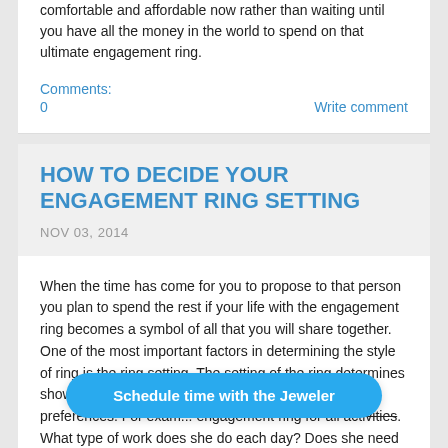comfortable and affordable now rather than waiting until you have all the money in the world to spend on that ultimate engagement ring.
Comments:
0
Write comment
HOW TO DECIDE YOUR ENGAGEMENT RING SETTING
NOV 03, 2014
When the time has come for you to propose to that person you plan to spend the rest if your life with the engagement ring becomes a symbol of all that you will share together. One of the most important factors in determining the style of ring is the ring setting. The setting of the ring determines show the stone will be displayed taking into co... preferences. For exam... engagement ring for all acti... each day? Does she need a ring that has a setting meant to hold the center stone more firmly in place or does a more deli... setting suit her needs. The setting of the ring sets the wh...
[Figure (other): Blue CTA button overlay: 'Schedule time with the Jeweler']
[Figure (logo): TrustedSite badge with green checkmark]